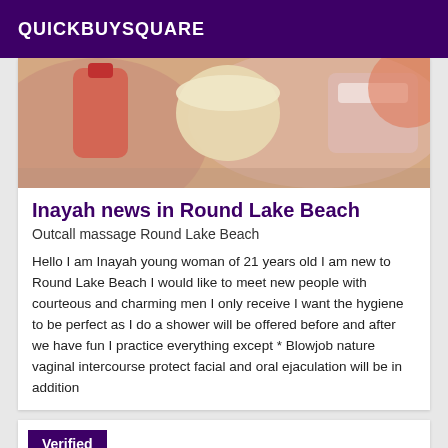QUICKBUYSQUARE
[Figure (photo): Photo of cosmetic/beauty product containers on a surface, top-down view with pinkish and cream tones]
Inayah news in Round Lake Beach
Outcall massage Round Lake Beach
Hello I am Inayah young woman of 21 years old I am new to Round Lake Beach I would like to meet new people with courteous and charming men I only receive I want the hygiene to be perfect as I do a shower will be offered before and after we have fun I practice everything except * Blowjob nature vaginal intercourse protect facial and oral ejaculation will be in addition
Verified